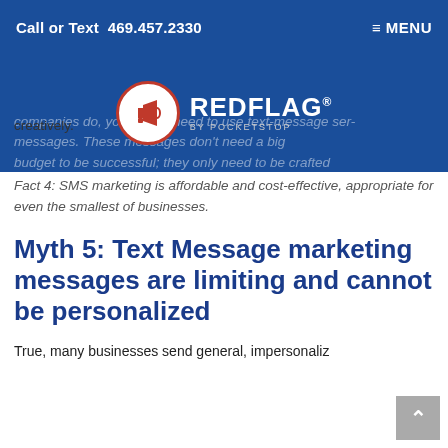Call or Text 469.457.2330   ≡ MENU
[Figure (logo): RedFlag by Pocketstop logo: red megaphone icon in white circle with red border, white REDFLAG® text, gray BY POCKETSTOP byline, on blue background]
companies do, you simply need to use text-message services. These messages don't need a big budget to be successful; they only need to be crafted creatively.
Fact 4: SMS marketing is affordable and cost-effective, appropriate for even the smallest of businesses.
Myth 5: Text Message marketing messages are limiting and cannot be personalized
True, many businesses send general, impersonalize messages, but that is up to them. Personalized text